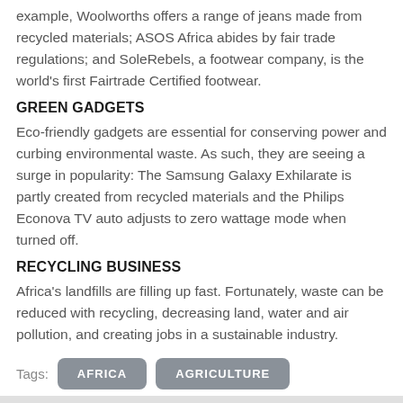example, Woolworths offers a range of jeans made from recycled materials; ASOS Africa abides by fair trade regulations; and SoleRebels, a footwear company, is the world's first Fairtrade Certified footwear.
GREEN GADGETS
Eco-friendly gadgets are essential for conserving power and curbing environmental waste. As such, they are seeing a surge in popularity: The Samsung Galaxy Exhilarate is partly created from recycled materials and the Philips Econova TV auto adjusts to zero wattage mode when turned off.
RECYCLING BUSINESS
Africa's landfills are filling up fast. Fortunately, waste can be reduced with recycling, decreasing land, water and air pollution, and creating jobs in a sustainable industry.
Tags: AFRICA   AGRICULTURE